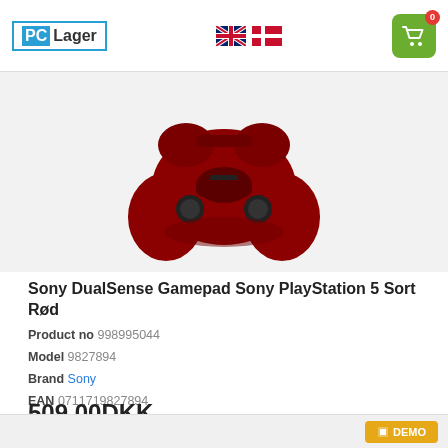PC Lager
[Figure (photo): Sony DualSense PlayStation 5 controller in red/dark red color, viewed from top/front angle]
Sony DualSense Gamepad Sony PlayStation 5 Sort Rød
Product no 998995044
Model 9827894
Brand Sony
EAN 0711719827894
509,00DKK
407,20DKK excl. VAT
17 pcs in stock (Delivery 23-08)
Compare